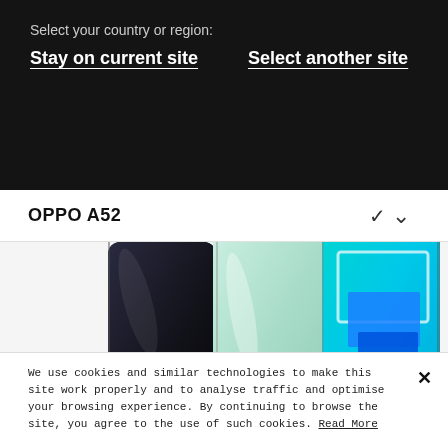Select your country or region:
Stay on current site
Select another site
OPPO A52
[Figure (photo): Three OPPO A52 smartphones shown side by side — black, mint green, and one showing a cyan/blue geometric screen, partially cropped]
We use cookies and similar technologies to make this site work properly and to analyse traffic and optimise your browsing experience. By continuing to browse the site, you agree to the use of such cookies. Read More